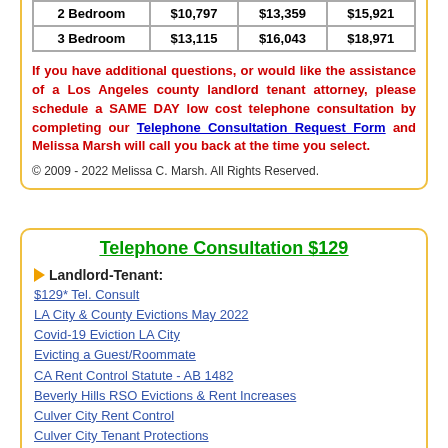| 2 Bedroom | $10,797 | $13,359 | $15,921 |
| 3 Bedroom | $13,115 | $16,043 | $18,971 |
If you have additional questions, or would like the assistance of a Los Angeles county landlord tenant attorney, please schedule a SAME DAY low cost telephone consultation by completing our Telephone Consultation Request Form and Melissa Marsh will call you back at the time you select.
© 2009 - 2022 Melissa C. Marsh. All Rights Reserved.
Telephone Consultation $129
Landlord-Tenant:
$129* Tel. Consult
LA City & County Evictions May 2022
Covid-19 Eviction LA City
Evicting a Guest/Roommate
CA Rent Control Statute - AB 1482
Beverly Hills RSO Evictions & Rent Increases
Culver City Rent Control
Culver City Tenant Protections
Glendale Rent Control
Inglewood Housing Protection Ordinance